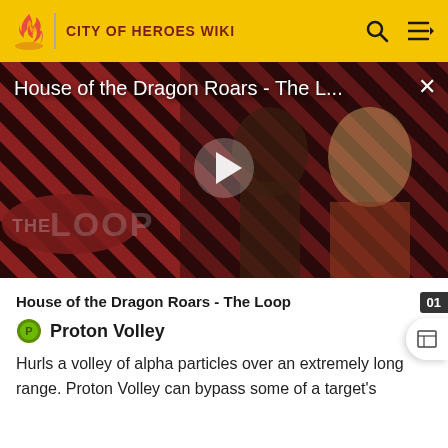CITY OF HEROES WIKI
[Figure (screenshot): Video thumbnail showing 'House of the Dragon Roars - The L...' with a play button overlay. Background has diagonal red and dark stripes with 'THE LOOP' branding. Two characters in medieval/fantasy costumes are visible.]
House of the Dragon Roars - The Loop
Proton Volley
Hurls a volley of alpha particles over an extremely long range. Proton Volley can bypass some of a target's